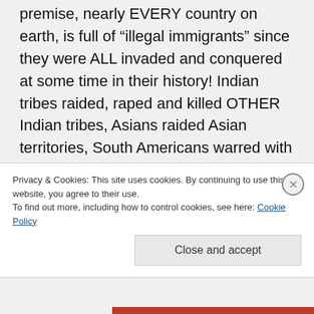premise, nearly EVERY country on earth, is full of “illegal immigrants” since they were ALL invaded and conquered at some time in their history! Indian tribes raided, raped and killed OTHER Indian tribes, Asians raided Asian territories, South Americans warred with other South American tribes, Africans invaded killed, raped and slaughter other tribes!! Go back to school!
Privacy & Cookies: This site uses cookies. By continuing to use this website, you agree to their use.
To find out more, including how to control cookies, see here: Cookie Policy
Close and accept